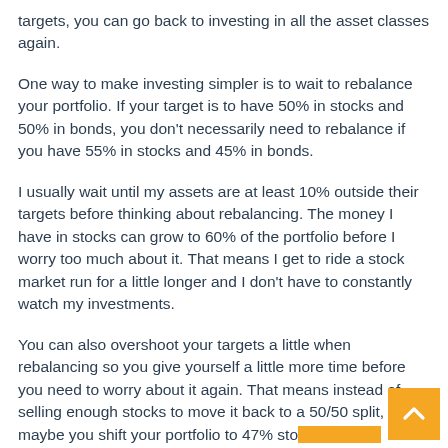targets, you can go back to investing in all the asset classes again.
One way to make investing simpler is to wait to rebalance your portfolio. If your target is to have 50% in stocks and 50% in bonds, you don't necessarily need to rebalance if you have 55% in stocks and 45% in bonds.
I usually wait until my assets are at least 10% outside their targets before thinking about rebalancing. The money I have in stocks can grow to 60% of the portfolio before I worry too much about it. That means I get to ride a stock market run for a little longer and I don't have to constantly watch my investments.
You can also overshoot your targets a little when rebalancing so you give yourself a little more time before you need to worry about it again. That means instead of selling enough stocks to move it back to a 50/50 split, maybe you shift your portfolio to 47% stocks